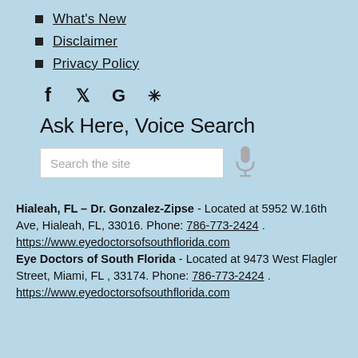What's New
Disclaimer
Privacy Policy
[Figure (infographic): Social media icons: Facebook, Twitter, Google, Yelp]
Ask Here, Voice Search
Hialeah, FL – Dr. Gonzalez-Zipse - Located at 5952 W.16th Ave, Hialeah, FL, 33016. Phone: 786-773-2424. https://www.eyedoctorsofsouthflorida.com Eye Doctors of South Florida - Located at 9473 West Flagler Street, Miami, FL , 33174. Phone: 786-773-2424. https://www.eyedoctorsofsouthflorida.com